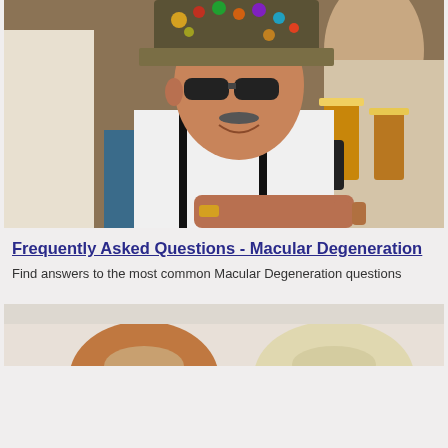[Figure (photo): Elderly man wearing a decorated hat with pins and suspenders, smiling at a table with beer glasses, at what appears to be a social gathering]
Frequently Asked Questions - Macular Degeneration
Find answers to the most common Macular Degeneration questions
[Figure (photo): Two people sitting together, partial view showing tops of their heads, one with red/auburn hair and one with blonde/white hair]